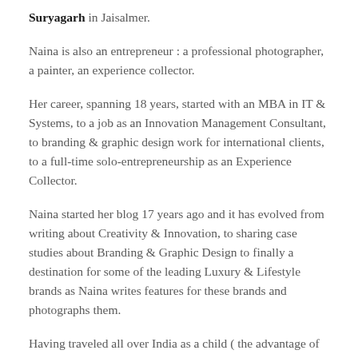Suryagarh in Jaisalmer.
Naina is also an entrepreneur : a professional photographer, a painter, an experience collector.
Her career, spanning 18 years, started with an MBA in IT & Systems, to a job as an Innovation Management Consultant, to branding & graphic design work for international clients, to a full-time solo-entrepreneurship as an Experience Collector.
Naina started her blog 17 years ago and it has evolved from writing about Creativity & Innovation, to sharing case studies about Branding & Graphic Design to finally a destination for some of the leading Luxury & Lifestyle brands as Naina writes features for these brands and photographs them.
Having traveled all over India as a child ( the advantage of